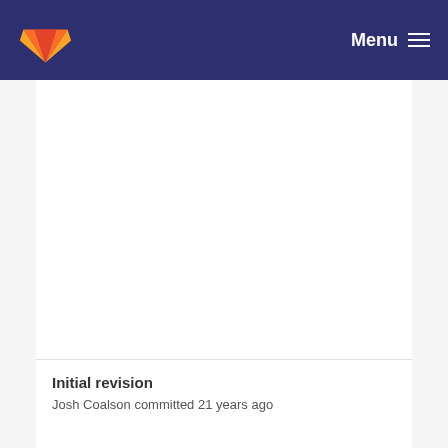Menu
Initial revision
Josh Coalson committed 21 years ago
change license verbiage to Xiph's
Josh Coalson committed 19 years ago